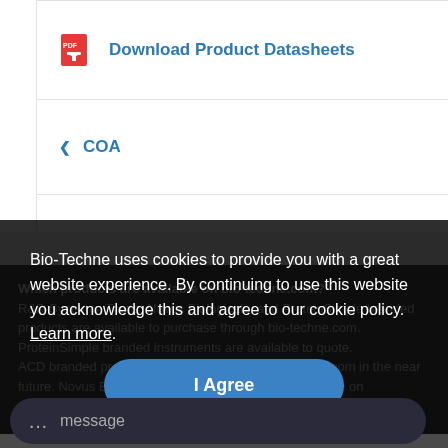Download Product Datasheets
COA
SDS
Which products are available on bio-techne.com? R&D Systems, Tocris, Novus Biologicals, and Protein Simple branded products are available to purchase through bio-techne.com. ProteinSimple branded instruments are available to quote. ACD branded products will be available on bio-techne.com in the near future. Novus Biologicals products are currently available on novusbio.com.
Bio-Techne uses cookies to provide you with a great website experience. By continuing to use this website you acknowledge this and agree to our cookie policy. Learn more.